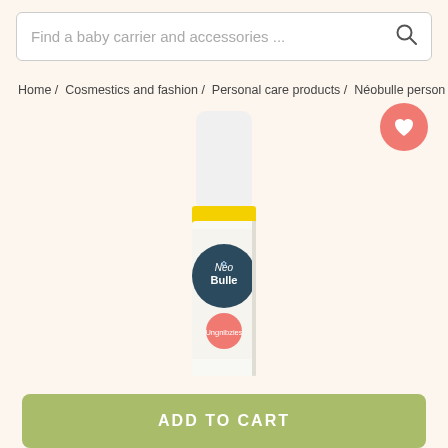Find a baby carrier and accessories ...
Home / Cosmestics and fashion / Personal care products / Néobulle person
[Figure (photo): A small essential oil bottle with white cap and yellow lid, NeoBulle brand label with navy and pink circles, on a white background]
ADD TO CART